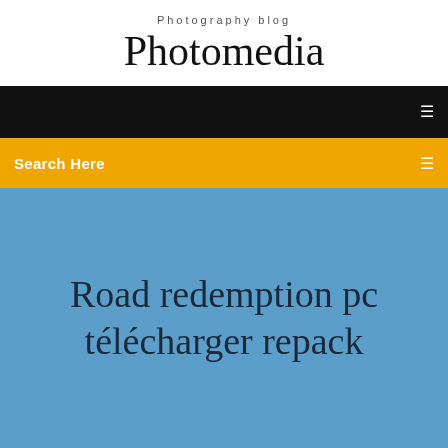Photography blog
Photomedia
[Figure (screenshot): Black navigation bar with a small icon on the right]
[Figure (screenshot): Yellow/amber search bar with 'Search Here' text on the left and an icon on the right]
Road redemption pc télécharger repack